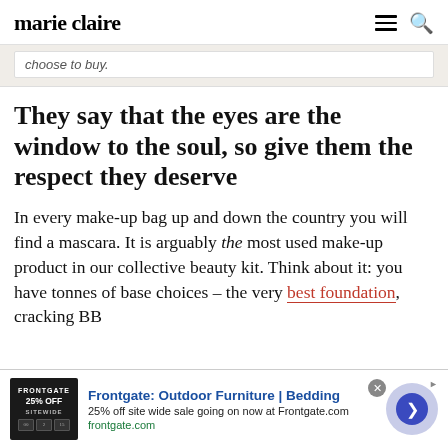marie claire
choose to buy.
They say that the eyes are the window to the soul, so give them the respect they deserve
In every make-up bag up and down the country you will find a mascara. It is arguably the most used make-up product in our collective beauty kit. Think about it: you have tonnes of base choices – the very best foundation, cracking BB
[Figure (other): Advertisement banner for Frontgate: Outdoor Furniture | Bedding. 25% off site wide sale going on now at Frontgate.com. frontgate.com]